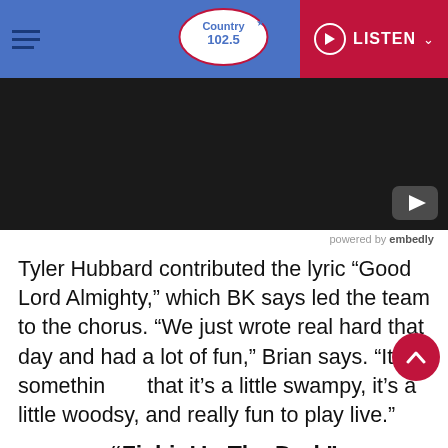Country 102.5 | LISTEN
[Figure (screenshot): Black video embed area with YouTube icon in bottom right, followed by 'powered by embedly' text below]
Tyler Hubbard contributed the lyric “Good Lord Almighty,” which BK says led the team to the chorus. “We just wrote real hard that day and had a lot of fun,” Brian says. “It’s something that it’s a little swampy, it’s a little woodsy, and really fun to play live.”
“Fishin’ In The Dark”